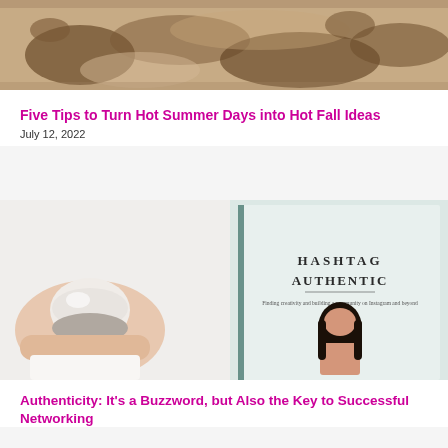[Figure (photo): Close-up photo of footprints or patterns in sand, warm brown tones]
Five Tips to Turn Hot Summer Days into Hot Fall Ideas
July 12, 2022
[Figure (photo): Hands holding a small ceramic bowl next to a book titled 'Hashtag Authentic - Finding creativity and building a community on Instagram and beyond', showing a woman with dark hair on the cover]
Authenticity: It's a Buzzword, but Also the Key to Successful Networking